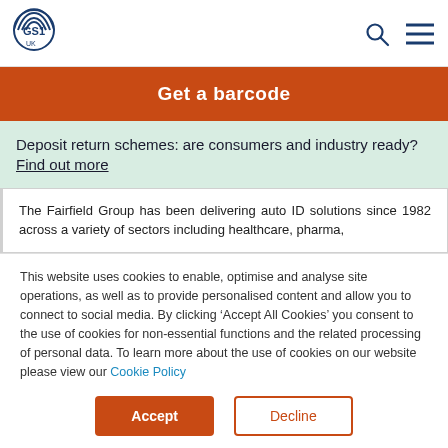GS1 UK logo, search icon, menu icon
Get a barcode
Deposit return schemes: are consumers and industry ready? Find out more
The Fairfield Group has been delivering auto ID solutions since 1982 across a variety of sectors including healthcare, pharma,
This website uses cookies to enable, optimise and analyse site operations, as well as to provide personalised content and allow you to connect to social media. By clicking ‘Accept All Cookies’ you consent to the use of cookies for non-essential functions and the related processing of personal data. To learn more about the use of cookies on our website please view our Cookie Policy
Accept | Decline